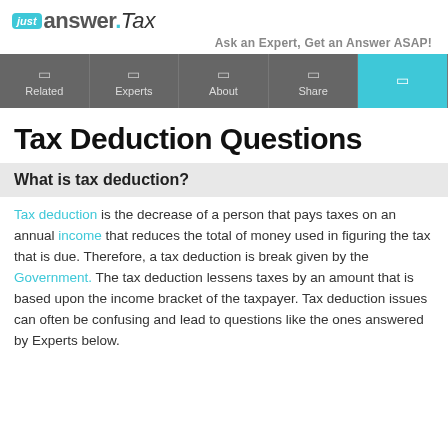[Figure (logo): JustAnswer Tax logo with teal 'just' badge, bold 'answer.' text and italic 'Tax' text]
Ask an Expert, Get an Answer ASAP!
Related | Experts | About | Share | [icon]
Tax Deduction Questions
What is tax deduction?
Tax deduction is the decrease of a person that pays taxes on an annual income that reduces the total of money used in figuring the tax that is due. Therefore, a tax deduction is break given by the Government. The tax deduction lessens taxes by an amount that is based upon the income bracket of the taxpayer. Tax deduction issues can often be confusing and lead to questions like the ones answered by Experts below.